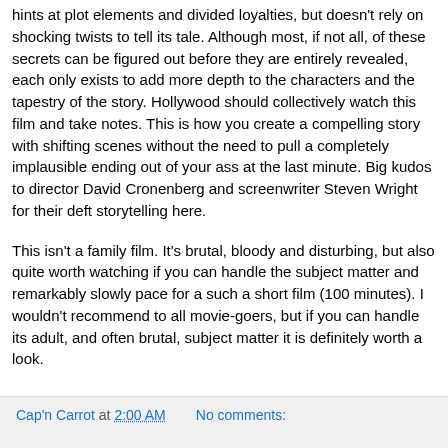hints at plot elements and divided loyalties, but doesn't rely on shocking twists to tell its tale. Although most, if not all, of these secrets can be figured out before they are entirely revealed, each only exists to add more depth to the characters and the tapestry of the story. Hollywood should collectively watch this film and take notes. This is how you create a compelling story with shifting scenes without the need to pull a completely implausible ending out of your ass at the last minute. Big kudos to director David Cronenberg and screenwriter Steven Wright for their deft storytelling here.
This isn't a family film. It's brutal, bloody and disturbing, but also quite worth watching if you can handle the subject matter and remarkably slowly pace for a such a short film (100 minutes). I wouldn't recommend to all movie-goers, but if you can handle its adult, and often brutal, subject matter it is definitely worth a look.
Cap'n Carrot at 2:00 AM   No comments: